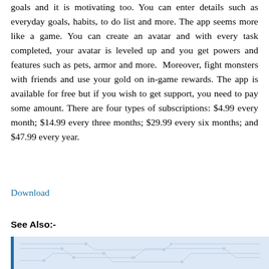goals and it is motivating too. You can enter details such as everyday goals, habits, to do list and more. The app seems more like a game. You can create an avatar and with every task completed, your avatar is leveled up and you get powers and features such as pets, armor and more. Moreover, fight monsters with friends and use your gold on in-game rewards. The app is available for free but if you wish to get support, you need to pay some amount. There are four types of subscriptions: $4.99 every month; $14.99 every three months; $29.99 every six months; and $47.99 every year.
Download
See Also:-
[Figure (illustration): A banner image with a light blue background showing circuit board line patterns/traces in a subtle gray color.]